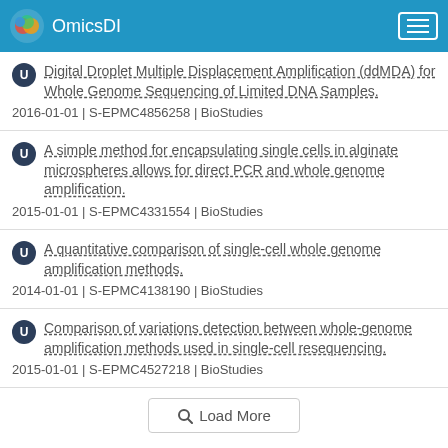OmicsDI
Digital Droplet Multiple Displacement Amplification (ddMDA) for Whole Genome Sequencing of Limited DNA Samples. 2016-01-01 | S-EPMC4856258 | BioStudies
A simple method for encapsulating single cells in alginate microspheres allows for direct PCR and whole genome amplification. 2015-01-01 | S-EPMC4331554 | BioStudies
A quantitative comparison of single-cell whole genome amplification methods. 2014-01-01 | S-EPMC4138190 | BioStudies
Comparison of variations detection between whole-genome amplification methods used in single-cell resequencing. 2015-01-01 | S-EPMC4527218 | BioStudies
Load More